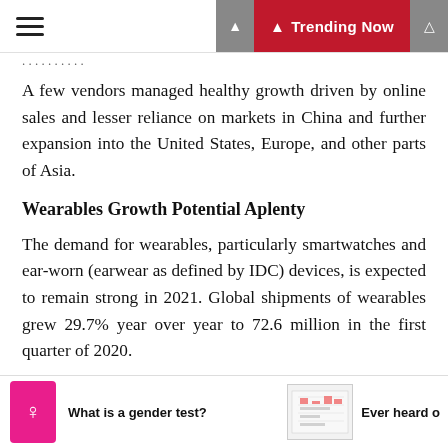Trending Now
A few vendors managed healthy growth driven by online sales and lesser reliance on markets in China and further expansion into the United States, Europe, and other parts of Asia.
Wearables Growth Potential Aplenty
The demand for wearables, particularly smartwatches and ear-worn (earwear as defined by IDC) devices, is expected to remain strong in 2021. Global shipments of wearables grew 29.7% year over year to 72.6 million in the first quarter of 2020.
Earwear shipments accounted for 54.9% of the market and grew 68.3% year over year, followed by Wristband that grew 16.2% during the same period.
What is a gender test? | Ever heard of